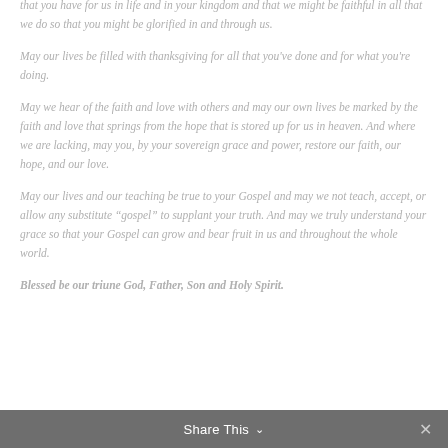that you have for us in life and in your kingdom and that we might be faithful in all that we do so that you might be glorified in and through us.
May our lives be filled with thanksgiving for all that you've done and for what you're doing.
May we hear of the faith and love with others and may our own lives be marked by the faith and love that springs from the hope that is stored up for us in heaven. And where we are lacking, may you, by your sovereign grace and power, restore our faith, our hope, and our love.
May our lives and our teaching be true to your Gospel and may we not teach, accept, or allow any substitute “gospel” to supplant your truth. And may we truly understand your grace so that your Gospel can grow and bear fruit in us and throughout the whole world.
Blessed be our triune God, Father, Son and Holy Spirit.
Share This